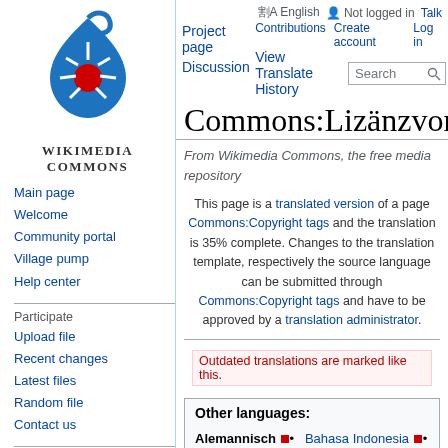[Figure (logo): Wikimedia Commons logo - blue water drop with arrows and red circle in center]
WIKIMEDIA
COMMONS
Main page
Welcome
Community portal
Village pump
Help center
Participate
Upload file
Recent changes
Latest files
Random file
Contact us
Tools
English  Not logged in  Talk  Contributions  Create account  Log in
Project page  Discussion  View  Translate  History
Commons:Lizänzvorla
From Wikimedia Commons, the free media repository
This page is a translated version of a page Commons:Copyright tags and the translation is 35% complete. Changes to the translation template, respectively the source language can be submitted through Commons:Copyright tags and have to be approved by a translation administrator.
Outdated translations are marked like this.
Other languages:
Alemannisch • Bahasa Indonesia • Bahasa Melayu • Canadian English • Deutsch • English • Nederlands •